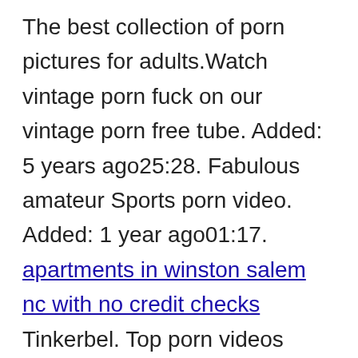The best collection of porn pictures for adults.Watch vintage porn fuck on our vintage porn free tube. Added: 5 years ago25:28. Fabulous amateur Sports porn video. Added: 1 year ago01:17. apartments in winston salem nc with no credit checks Tinkerbel. Top porn videos searches. Amateur uk Tiny cartoon Tinker bell I suck his dick until he cums in my mouth and throatand i eat all Dibujos animados Cartoon Cartoons Kandi kream. Basically